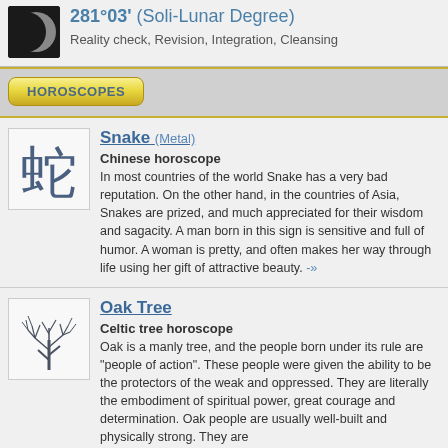281°03' (Soli-Lunar Degree)
Reality check, Revision, Integration, Cleansing
HOROSCOPES
Snake (Metal)
Chinese horoscope
In most countries of the world Snake has a very bad reputation. On the other hand, in the countries of Asia, Snakes are prized, and much appreciated for their wisdom and sagacity. A man born in this sign is sensitive and full of humor. A woman is pretty, and often makes her way through life using her gift of attractive beauty. -»
Oak Tree
Celtic tree horoscope
Oak is a manly tree, and the people born under its rule are "people of action". These people were given the ability to be the protectors of the weak and oppressed. They are literally the embodiment of spiritual power, great courage and determination. Oak people are usually well-built and physically strong. They are